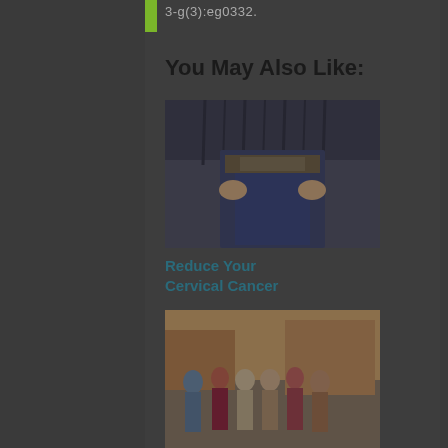3-g(3):eg0332.
You May Also Like:
[Figure (photo): Photo related to cervical cancer article showing person holding jeans at waist]
Reduce Your Cervical Cancer
[Figure (photo): Photo of a family group posing outdoors]
When a Parent Has Cancer